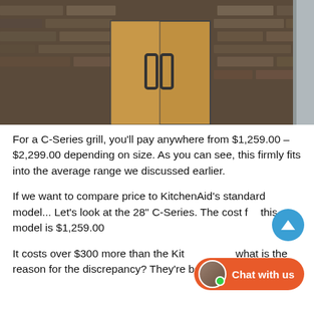[Figure (photo): Outdoor kitchen with bronze/gold cabinet doors and stone wall backdrop]
For a C-Series grill, you'll pay anywhere from $1,259.00 – $2,299.00 depending on size. As you can see, this firmly fits into the average range we discussed earlier.
If we want to compare price to KitchenAid's standard model... Let's look at the 28" C-Series. The cost for this model is $1,259.00
It costs over $300 more than the KitchenAid... what is the reason for the discrepancy? They're both